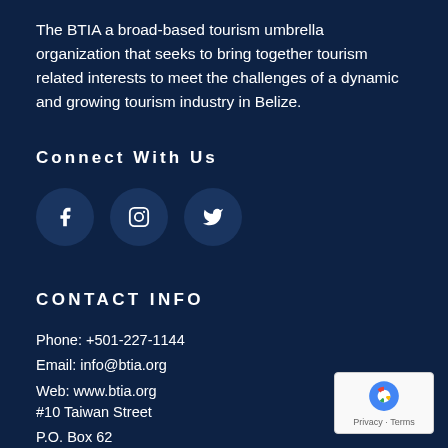The BTIA a broad-based tourism umbrella organization that seeks to bring together tourism related interests to meet the challenges of a dynamic and growing tourism industry in Belize.
Connect With Us
[Figure (infographic): Three social media icon circles: Facebook (f), Instagram (camera icon), Twitter (bird icon)]
CONTACT INFO
Phone: +501-227-1144
Email: info@btia.org
Web: www.btia.org
#10 Taiwan Street
P.O. Box 62
Belize City, Belize